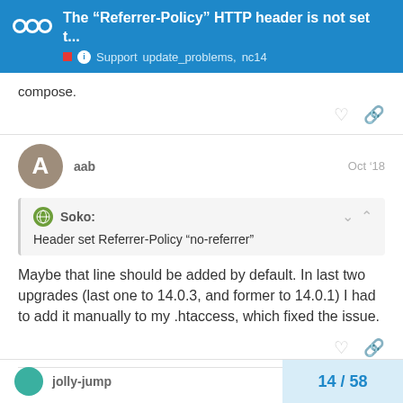The “Referrer-Policy” HTTP header is not set t... | Support | update_problems, nc14
compose.
aab  Oct '18
Soko:
Header set Referrer-Policy “no-referrer”
Maybe that line should be added by default. In last two upgrades (last one to 14.0.3, and former to 14.0.1) I had to add it manually to my .htaccess, which fixed the issue.
jolly-jump  14 / 58